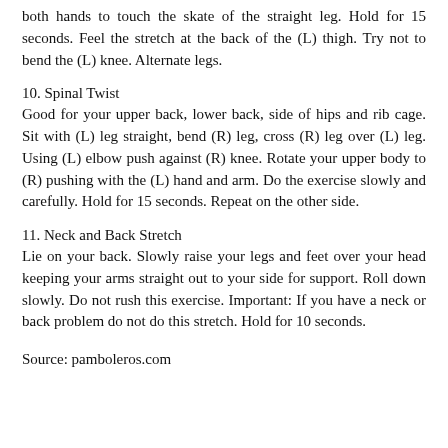both hands to touch the skate of the straight leg. Hold for 15 seconds. Feel the stretch at the back of the (L) thigh. Try not to bend the (L) knee. Alternate legs.
10. Spinal Twist
Good for your upper back, lower back, side of hips and rib cage. Sit with (L) leg straight, bend (R) leg, cross (R) leg over (L) leg. Using (L) elbow push against (R) knee. Rotate your upper body to (R) pushing with the (L) hand and arm. Do the exercise slowly and carefully. Hold for 15 seconds. Repeat on the other side.
11. Neck and Back Stretch
Lie on your back. Slowly raise your legs and feet over your head keeping your arms straight out to your side for support. Roll down slowly. Do not rush this exercise. Important: If you have a neck or back problem do not do this stretch. Hold for 10 seconds.
Source: pamboleros.com